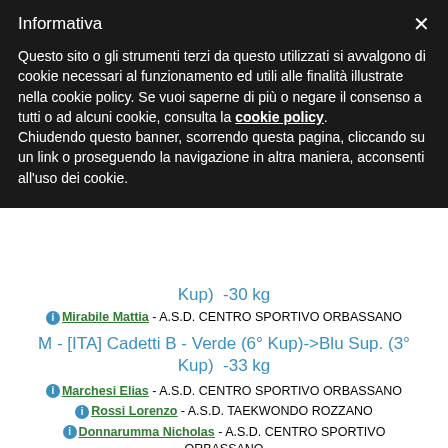Informativa
Questo sito o gli strumenti terzi da questo utilizzati si avvalgono di cookie necessari al funzionamento ed utili alle finalità illustrate nella cookie policy. Se vuoi saperne di più o negare il consenso a tutti o ad alcuni cookie, consulta la cookie policy.
Chiudendo questo banner, scorrendo questa pagina, cliccando su un link o proseguendo la navigazione in altra maniera, acconsenti all'uso dei cookie.
Kup)  -30 kg
Mirabile Mattia - A.S.D. CENTRO SPORTIVO ORBASSANO
M - [ITA] Cadetti B - Verde (6° Kup)->Blu Sup. (3° Kup)  -33 kg
Marchesi Elias - A.S.D. CENTRO SPORTIVO ORBASSANO
Rossi Lorenzo - A.S.D. TAEKWONDO ROZZANO
Donnarumma Nicholas - A.S.D. CENTRO SPORTIVO ORBASSANO
Campazzo Augusto - SCUOLA TAEKWONDO GENOVA ASD